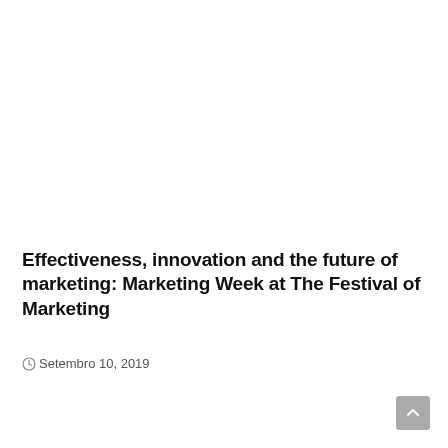Effectiveness, innovation and the future of marketing: Marketing Week at The Festival of Marketing
Setembro 10, 2019